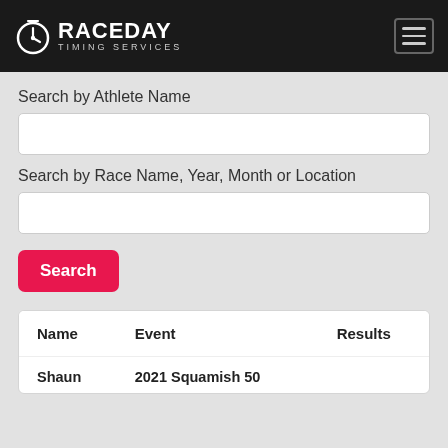[Figure (logo): Raceday Timing Services logo with stopwatch icon, white text on dark background, hamburger menu icon top right]
Search by Athlete Name
Search by Race Name, Year, Month or Location
Search
| Name | Event | Results |
| --- | --- | --- |
| Shaun | 2021 Squamish 50 |  |